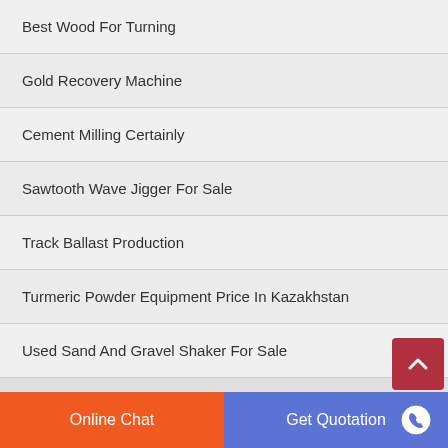Best Wood For Turning
Gold Recovery Machine
Cement Milling Certainly
Sawtooth Wave Jigger For Sale
Track Ballast Production
Turmeric Powder Equipment Price In Kazakhstan
Used Sand And Gravel Shaker For Sale
Online Chat | Get Quotation